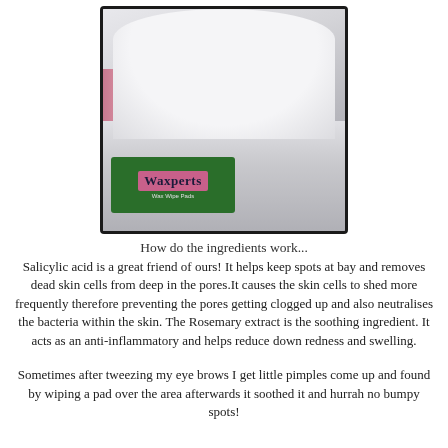[Figure (photo): An open white container of Waxperts product with cotton pads inside, showing the green and pink label, held by a hand with pink-painted nails against a grey background.]
How do the ingredients work...
Salicylic acid is a great friend of ours! It helps keep spots at bay and removes dead skin cells from deep in the pores.It causes the skin cells to shed more frequently therefore preventing the pores getting clogged up and also neutralises the bacteria within the skin. The Rosemary extract is the soothing ingredient. It acts as an anti-inflammatory and helps reduce down redness and swelling.
Sometimes after tweezing my eye brows I get little pimples come up and found by wiping a pad over the area afterwards it soothed it and hurrah no bumpy spots!